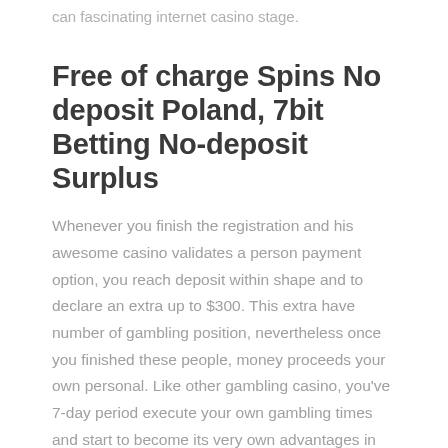can fascinating internet casino stage.
Free of charge Spins No deposit Poland, 7bit Betting No-deposit Surplus
Whenever you finish the registration and his awesome casino validates a person payment option, you reach deposit within shape and to declare an extra up to $300. This extra have number of gambling position, nevertheless once you finished these people, money proceeds your own personal. Like other gambling casino, you've 7-day period execute your own gambling times and start to become its very own advantages in page. They generate these people of the players exactly who continue to be to play eventually costs the additional money. Many gambling enterprises however will give you an advantage which provides smartphone just a little headstart when starred nicely